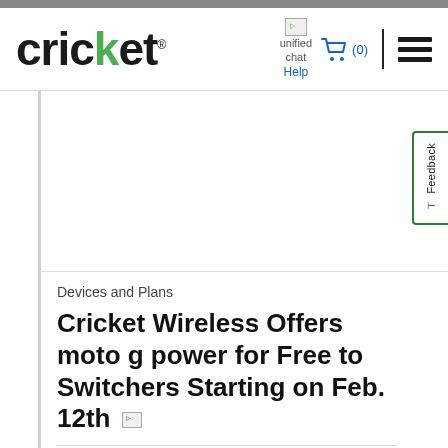[Figure (logo): Cricket wireless logo with green 'k' letter, registered trademark symbol]
[Figure (infographic): Header navigation: broken image icon labeled 'unified chat', shopping cart icon with (0) count in blue, vertical divider, hamburger menu icon, and Help link below the chat icon]
[Figure (other): Feedback tab on right side with vertical text reading 'Feedback' and a small icon below, bordered in green]
Devices and Plans
Cricket Wireless Offers moto g power for Free to Switchers Starting on Feb. 12th
2/12/2021